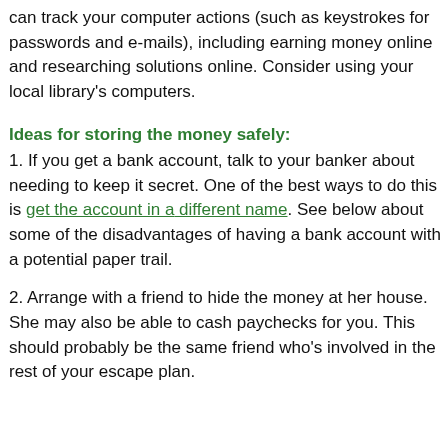can track your computer actions (such as keystrokes for passwords and e-mails), including earning money online and researching solutions online. Consider using your local library's computers.
Ideas for storing the money safely:
1. If you get a bank account, talk to your banker about needing to keep it secret. One of the best ways to do this is get the account in a different name. See below about some of the disadvantages of having a bank account with a potential paper trail.
2. Arrange with a friend to hide the money at her house. She may also be able to cash paychecks for you. This should probably be the same friend who's involved in the rest of your escape plan.